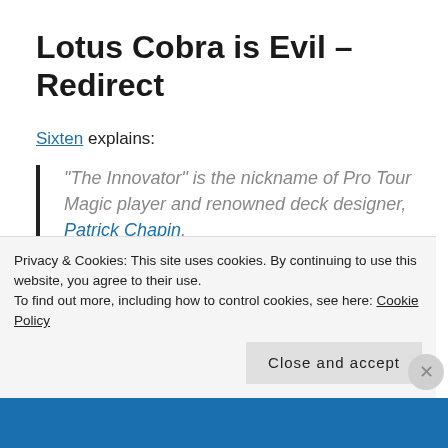Lotus Cobra is Evil – Redirect
Sixten explains:
“The Innovator” is the nickname of Pro Tour Magic player and renowned deck designer, Patrick Chapin.
He is known for saying, “You want the truth?
Privacy & Cookies: This site uses cookies. By continuing to use this website, you agree to their use.
To find out more, including how to control cookies, see here: Cookie Policy
Close and accept